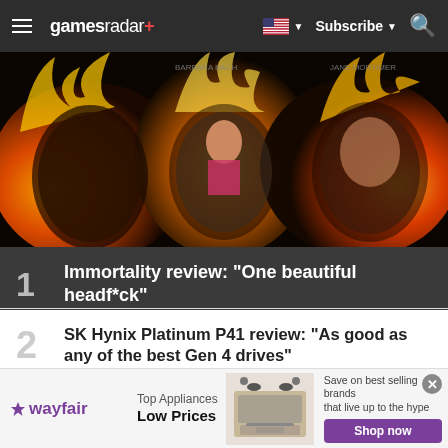gamesradar+ | Subscribe | Search
[Figure (photo): Hero image showing three burning portrait-like frames with figures inside, set against a dark background with flames]
1 Immortality review: "One beautiful headf*ck"
2 SK Hynix Platinum P41 review: "As good as any of the best Gen 4 drives"
3 ASUS ROG Strix Scar 17 SE review: "Quite simply, a helluva gaming laptop"
[Figure (infographic): Wayfair advertisement banner: Top Appliances Low Prices, image of stove, Save on best selling brands that live up to the hype, Shop now button]